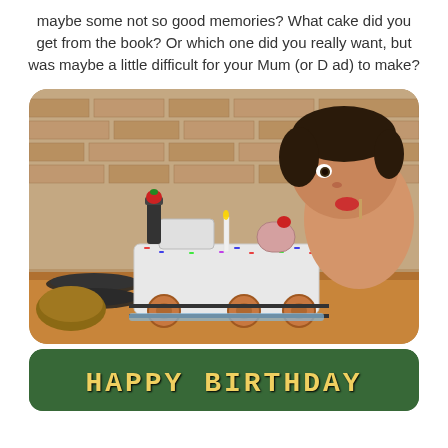maybe some not so good memories?  What cake did you get from the book? Or which one did you really want, but was maybe a little difficult for your Mum (or Dad) to make?
[Figure (photo): Vintage photograph of a young boy sitting at a wooden table with a train-shaped birthday cake decorated with white icing, colorful sprinkles, strawberries, and a candle. The boy is eating something red. Brick wall background.]
[Figure (photo): Partial view of a birthday cake with green background and yellow text reading 'HAPPY BIRTHDAY']